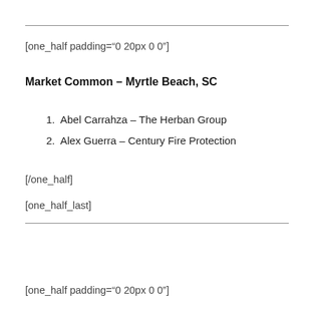[one_half padding="0 20px 0 0"]
Market Common – Myrtle Beach, SC
1. Abel Carrahza – The Herban Group
2. Alex Guerra – Century Fire Protection
[/one_half]
[one_half_last]
[one_half padding="0 20px 0 0"]